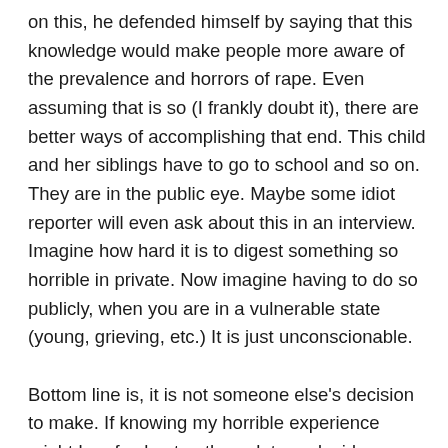on this, he defended himself by saying that this knowledge would make people more aware of the prevalence and horrors of rape. Even assuming that is so (I frankly doubt it), there are better ways of accomplishing that end. This child and her siblings have to go to school and so on. They are in the public eye. Maybe some idiot reporter will even ask about this in an interview. Imagine how hard it is to digest something so horrible in private. Now imagine having to do so publicly, when you are in a vulnerable state (young, grieving, etc.) It is just unconscionable.
Bottom line is, it is not someone else's decision to make. If knowing my horrible experience might be of value to others, let me decide that. Let me be the one to benefit from it.